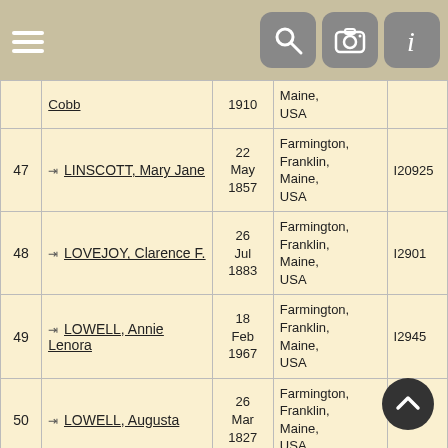Navigation bar with hamburger menu and search/camera/info icons
| # | Name | Date | Place | ID |
| --- | --- | --- | --- | --- |
|  | Cobb | 1910 | Maine, USA |  |
| 47 | LINSCOTT, Mary Jane | 22 May 1857 | Farmington, Franklin, Maine, USA | I20925 |
| 48 | LOVEJOY, Clarence F. | 26 Jul 1883 | Farmington, Franklin, Maine, USA | I2901 |
| 49 | LOWELL, Annie Lenora | 18 Feb 1967 | Farmington, Franklin, Maine, USA | I2945 |
| 50 | LOWELL, Augusta | 26 Mar 1827 | Farmington, Franklin, Maine, USA | I576 |
| 51 | LOWELL, Barzillai | 20 Oct 1872 | Farmington, Franklin, Maine, USA | I383 |
| 52 | LOWELL, Benjamin... | 2 Ma... | Farmington, Franklin... | I3... |